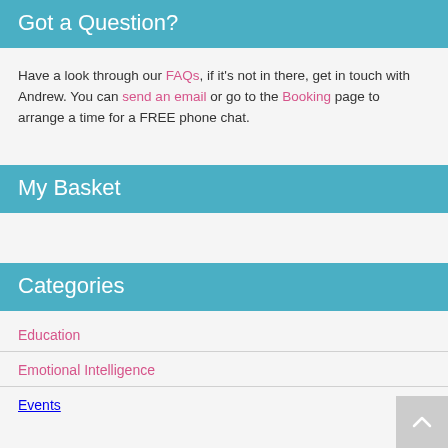Got a Question?
Have a look through our FAQs, if it’s not in there, get in touch with Andrew. You can send an email or go to the Booking page to arrange a time for a FREE phone chat.
My Basket
Categories
Education
Emotional Intelligence
Events